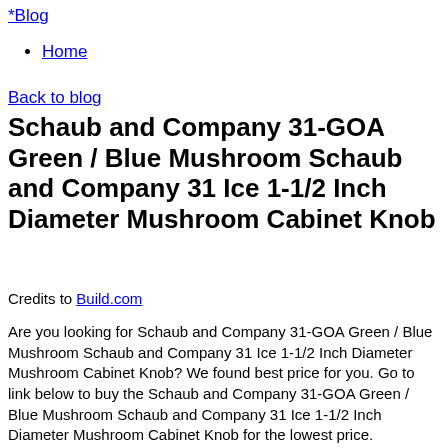*Blog
Home
Back to blog
Schaub and Company 31-GOA Green / Blue Mushroom Schaub and Company 31 Ice 1-1/2 Inch Diameter Mushroom Cabinet Knob
Credits to Build.com
Are you looking for Schaub and Company 31-GOA Green / Blue Mushroom Schaub and Company 31 Ice 1-1/2 Inch Diameter Mushroom Cabinet Knob? We found best price for you. Go to link below to buy the Schaub and Company 31-GOA Green / Blue Mushroom Schaub and Company 31 Ice 1-1/2 Inch Diameter Mushroom Cabinet Knob for the lowest price.